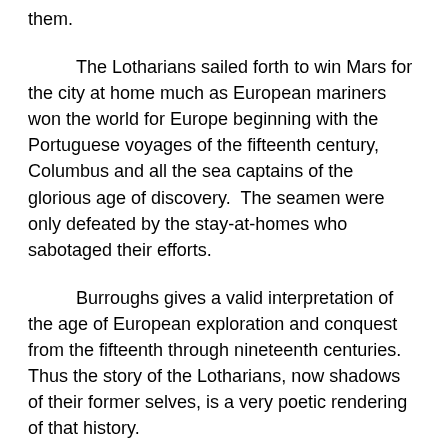them.
The Lotharians sailed forth to win Mars for the city at home much as European mariners won the world for Europe beginning with the Portuguese voyages of the fifteenth century,  Columbus and all the sea captains of the glorious age of discovery.  The seamen were only defeated by the stay-at-homes who sabotaged their efforts.
Burroughs gives a valid interpretation of the age of European exploration and conquest from the fifteenth through nineteenth centuries.  Thus the story of the Lotharians, now shadows of their former selves, is a very poetic rendering of that history.
The period ended with the 1899-1900 enunciation of the Open Door Policy in China by the American